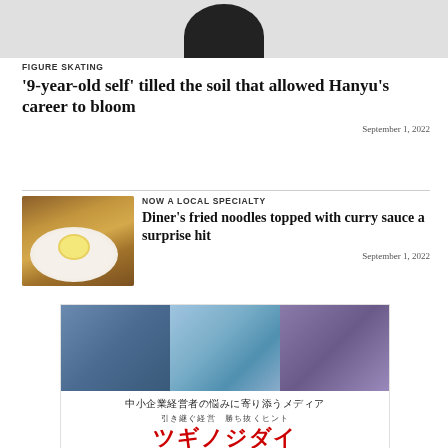[Figure (photo): Top portion of a photo showing a person in dark clothing, bottom portion of page cropped]
FIGURE SKATING
'9-year-old self' tilled the soil that allowed Hanyu's career to bloom
September 1, 2022
[Figure (photo): Photo of a plate of fried noodles topped with curry sauce and a fried egg, with a bowl of miso soup in the background]
NOW A LOCAL SPECIALTY
Diner's fried noodles topped with curry sauce a surprise hit
September 1, 2022
[Figure (photo): Advertisement banner for Tsugino Jidai (ツギノジダイ), a media service for small and medium business owners, showing three people, with Japanese text and logo, produced by Asahi Shimbun]
中小企業経営者の悩みに寄り添うメディア
引き継ぐ経営　勝ち抜くヒント
ツギノジダイ
produced by 朝日新聞社